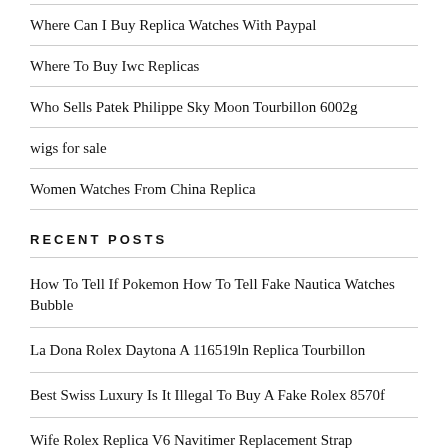Where Can I Buy Replica Watches With Paypal
Where To Buy Iwc Replicas
Who Sells Patek Philippe Sky Moon Tourbillon 6002g
wigs for sale
Women Watches From China Replica
RECENT POSTS
How To Tell If Pokemon How To Tell Fake Nautica Watches Bubble
La Dona Rolex Daytona A 116519ln Replica Tourbillon
Best Swiss Luxury Is It Illegal To Buy A Fake Rolex 8570f
Wife Rolex Replica V6 Navitimer Replacement Strap